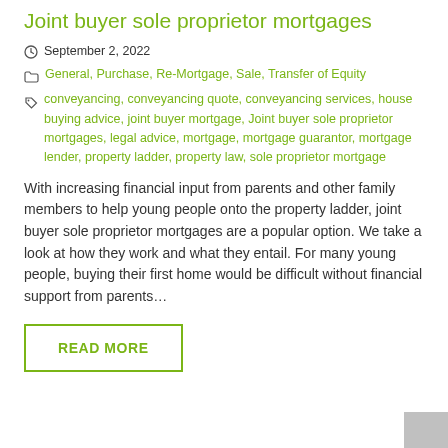Joint buyer sole proprietor mortgages
September 2, 2022
General, Purchase, Re-Mortgage, Sale, Transfer of Equity
conveyancing, conveyancing quote, conveyancing services, house buying advice, joint buyer mortgage, Joint buyer sole proprietor mortgages, legal advice, mortgage, mortgage guarantor, mortgage lender, property ladder, property law, sole proprietor mortgage
With increasing financial input from parents and other family members to help young people onto the property ladder, joint buyer sole proprietor mortgages are a popular option. We take a look at how they work and what they entail. For many young people, buying their first home would be difficult without financial support from parents…
READ MORE